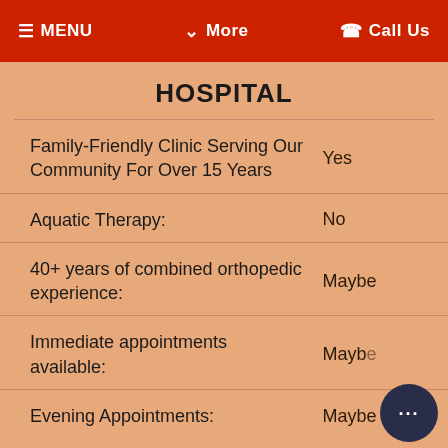MENU ≡  ∨ More  ☎ Call Us
HOSPITAL
| Feature | Status |
| --- | --- |
| Family-Friendly Clinic Serving Our Community For Over 15 Years | Yes |
| Aquatic Therapy: | No |
| 40+ years of combined orthopedic experience: | Maybe |
| Immediate appointments available: | Maybe |
| Evening Appointments: | Maybe |